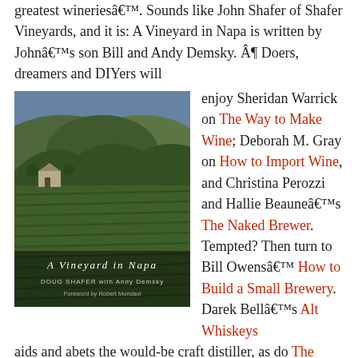greatest wineriesâ€™. Sounds like John Shafer of Shafer Vineyards, and it is: A Vineyard in Napa is written by Johnâ€™s son Bill and Andy Demsky. Â¶ Doers, dreamers and DIYers will enjoy Sheridan Warrick on The Way to Make Wine; Deborah M. Gray on How to Import Wine, and Christina Perozzi and Hallie Beauneâ€™s The Naked Brewer. Tempted? Then turn to Bill Owensâ€™ How to Build a Small Brewery. Darek Bellâ€™s Alt Whiskeys aids and abets the would-be craft distiller, as do The Craft of Whiskey Distilling, Modern Moonshine Techniques, 99 Pot Stills and The Art of Distilling Whiskey and Other Spirits, all by the busy Bill Owens. Armchair enthusiasts are more likely to sink into
[Figure (photo): Book cover of 'A Vineyard in Napa' by Doug Shafer with Andy Demsky, showing an aerial/elevated view of green vineyard rows in Napa valley with hills and buildings in the background. Cover text reads 'A Vineyard in Napa' and author names.]